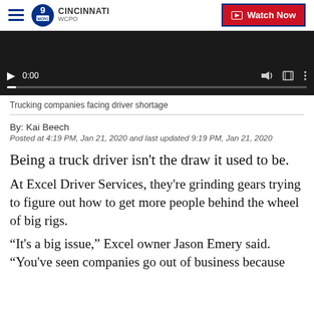WCPO 9 Cincinnati — Watch Now
[Figure (screenshot): Video player showing a dark scene with playback controls: play button, 0:00 timestamp, progress bar, volume icon, fullscreen icon, and options menu.]
Trucking companies facing driver shortage
By: Kai Beech
Posted at 4:19 PM, Jan 21, 2020 and last updated 9:19 PM, Jan 21, 2020
Being a truck driver isn't the draw it used to be.
At Excel Driver Services, they're grinding gears trying to figure out how to get more people behind the wheel of big rigs.
“It's a big issue,” Excel owner Jason Emery said. “You've seen companies go out of business because